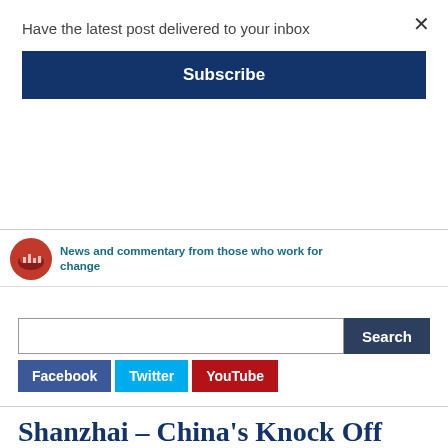Have the latest post delivered to your inbox
× (close button)
Subscribe
News and commentary from those who work for change
Search
Facebook
Twitter
YouTube
Shanzhai – China's Knock Off Culture
Yesterday we looked briefly at the way copyrights are ignored in China, and today